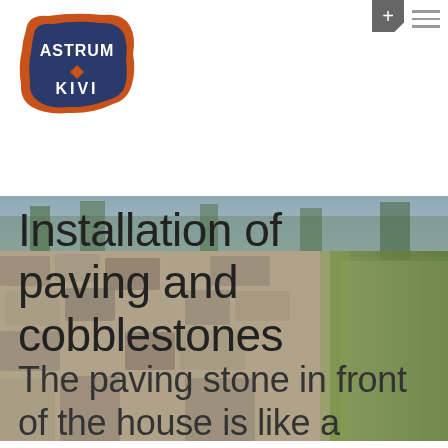[Figure (logo): Astrum Kivi company logo — orange irregular badge shape with dark blue background, white text reading ASTRUM KIVI with a diamond shape below the text]
[Figure (photo): Close-up photo of old cobblestone paving with green grass strip on right side and blurred people in background]
Installation of paving and cobblestones
The paving stone in front of the house is like a business card